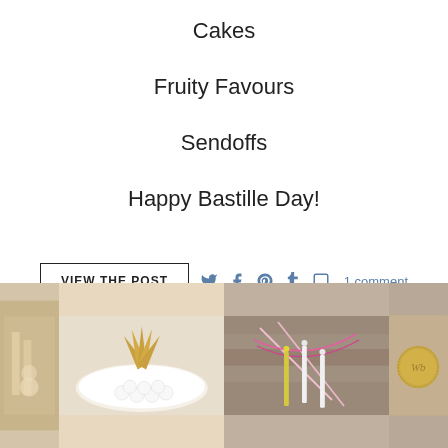Cakes
Fruity Favours
Sendoffs
Happy Bastille Day!
VIEW the POST
1 comment
[Figure (photo): Four photo strip showing: decorative gold items, gold chocolate cones on a plate with white truffles, colorful tied sticks/sparklers on wood, and a wax seal stamp on kraft paper]